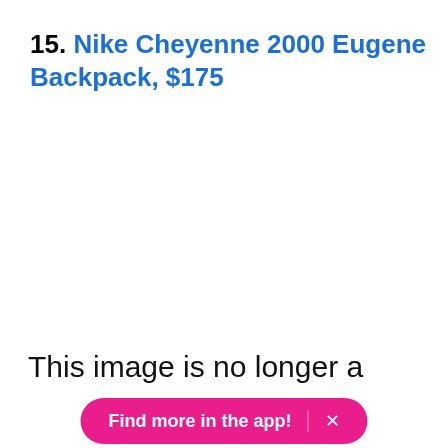15. Nike Cheyenne 2000 Eugene Backpack, $175
[Figure (photo): Image placeholder area — image no longer available]
This image is no longer a
Find more in the app!  ×